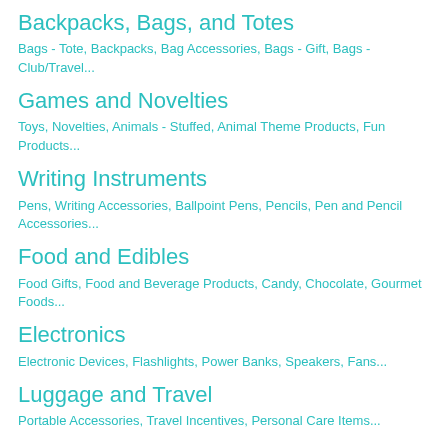Backpacks, Bags, and Totes
Bags - Tote, Backpacks, Bag Accessories, Bags - Gift, Bags - Club/Travel...
Games and Novelties
Toys, Novelties, Animals - Stuffed, Animal Theme Products, Fun Products...
Writing Instruments
Pens, Writing Accessories, Ballpoint Pens, Pencils, Pen and Pencil Accessories...
Food and Edibles
Food Gifts, Food and Beverage Products, Candy, Chocolate, Gourmet Foods...
Electronics
Electronic Devices, Flashlights, Power Banks, Speakers, Fans...
Luggage and Travel
Portable Accessories, Travel Incentives, Personal Care Items...